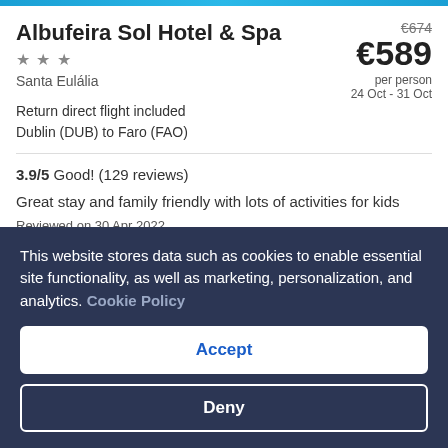Albufeira Sol Hotel & Spa
★ ★ ★
Santa Eulália
€674 €589 per person 24 Oct - 31 Oct
Return direct flight included
Dublin (DUB) to Faro (FAO)
3.9/5 Good! (129 reviews)
Great stay and family friendly with lots of activities for kids
Reviewed on 30 Apr 2022
This website stores data such as cookies to enable essential site functionality, as well as marketing, personalization, and analytics. Cookie Policy
Accept
Deny